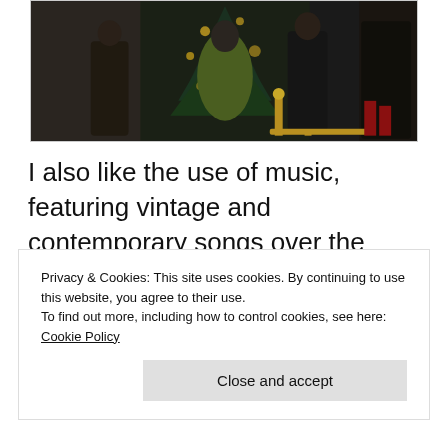[Figure (photo): Photo of people at an event, one wearing a dark olive/green coat, with a Christmas tree in the background and golden decor]
I also like the use of music, featuring vintage and contemporary songs over the course of Adaline's life. It just sets the mood nicely and gives you that swoony quality the film aims for. I went into this film with neutral
Privacy & Cookies: This site uses cookies. By continuing to use this website, you agree to their use.
To find out more, including how to control cookies, see here: Cookie Policy
Close and accept